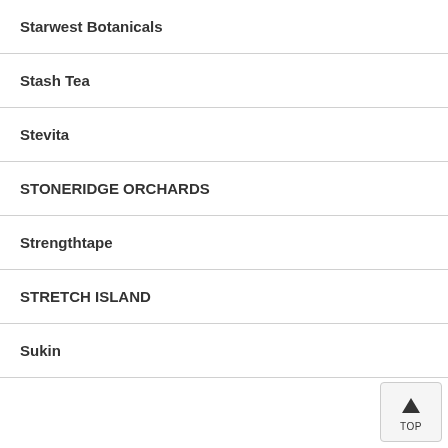Starwest Botanicals
Stash Tea
Stevita
STONERIDGE ORCHARDS
Strengthtape
STRETCH ISLAND
Sukin